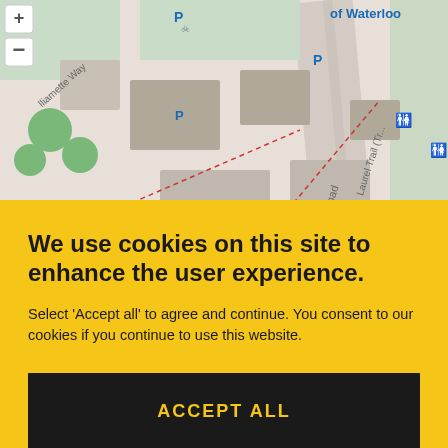[Figure (map): Campus map showing University of Waterloo area with parking spots (P), restroom icons, food icons, a building marker, dashed paths, roads including Ring Road and Laurel Trail, and map zoom controls (+/-). Green areas, grey buildings, and colored icons visible.]
We use cookies on this site to enhance the user experience.
Select 'Accept all' to agree and continue. You consent to our cookies if you continue to use this website.
ACCEPT ALL
TOP   SHARE